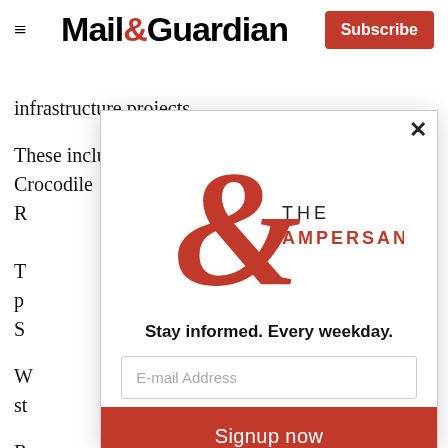Mail&Guardian | Subscribe
infrastructure projects.
These include Phase 2A of the Mokolo and Crocodile R
T p S
W st
R
su or N
[Figure (logo): The Ampersand newsletter logo: large red ampersand with 'THE AMPERSAND' text]
Stay informed. Every weekday.
E-mail Address
Signup now